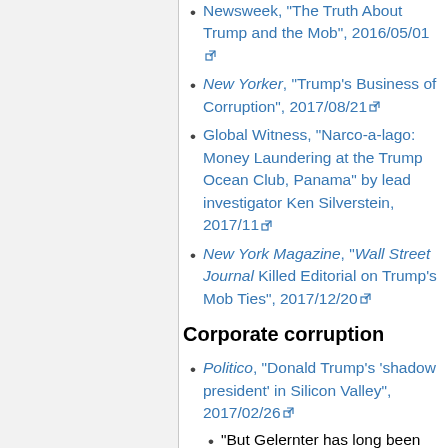Newsweek, "The Truth About Trump and the Mob", 2016/05/01
New Yorker, "Trump's Business of Corruption", 2017/08/21
Global Witness, "Narco-a-lago: Money Laundering at the Trump Ocean Club, Panama" by lead investigator Ken Silverstein, 2017/11
New York Magazine, "Wall Street Journal Killed Editorial on Trump's Mob Ties", 2017/12/20
Corporate corruption
Politico, "Donald Trump's 'shadow president' in Silicon Valley", 2017/02/26
"But Gelernter has long been friendly with Peter Thiel. He regularly attends an annual